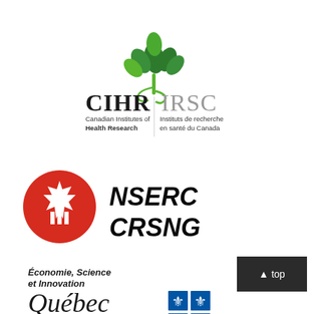[Figure (logo): CIHR IRSC - Canadian Institutes of Health Research / Instituts de recherche en santé du Canada logo with green tree/leaf graphic]
[Figure (logo): NSERC CRSNG logo with red circle containing white maple leaf and buildings, and bold black NSERC CRSNG text]
[Figure (logo): Québec government logo - Économie, Science et Innovation Québec with fleur-de-lis symbols]
top